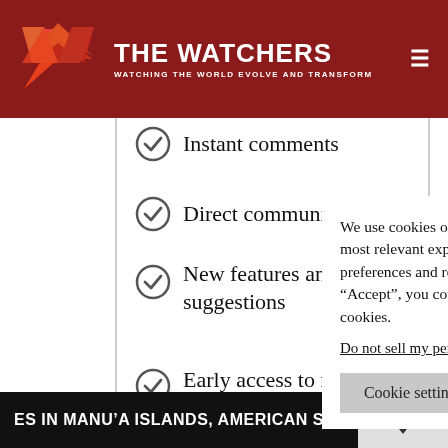THE WATCHERS — WATCHING THE WORLD EVOLVE AND TRANSFORM
Instant comments
Direct communication
New features and apps suggestions
Early access to new apps and features
G
$5
G
We use cookies on our website to give you the most relevant experience by remembering your preferences and repeat visits. By clicking “Accept”, you consent to the use of ALL the cookies.
Do not sell my personal information.
Cookie settings  Accept
ES IN MANU’A ISLANDS, AMERICAN SAMOA.